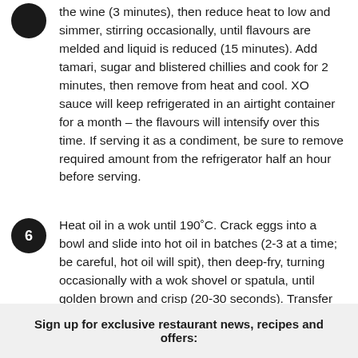the wine (3 minutes), then reduce heat to low and simmer, stirring occasionally, until flavours are melded and liquid is reduced (15 minutes). Add tamari, sugar and blistered chillies and cook for 2 minutes, then remove from heat and cool. XO sauce will keep refrigerated in an airtight container for a month – the flavours will intensify over this time. If serving it as a condiment, be sure to remove required amount from the refrigerator half an hour before serving.
Heat oil in a wok until 190°C. Crack eggs into a bowl and slide into hot oil in batches (2-3 at a time; be careful, hot oil will spit), then deep-fry, turning occasionally with a wok shovel or spatula, until golden brown and crisp (20-30 seconds). Transfer to plates and blot with paper towels. Spoon XO sauce over to taste and serve scattered with spring onion and chilli.
Sign up for exclusive restaurant news, recipes and offers: